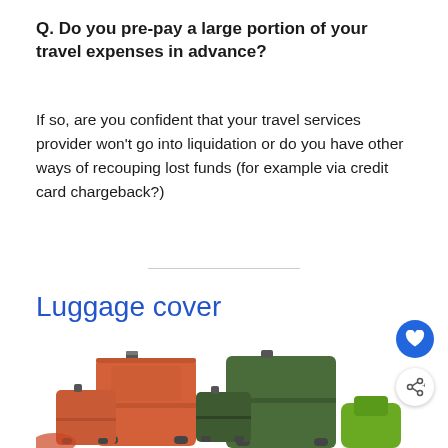Q. Do you pre-pay a large portion of your travel expenses in advance?
If so, are you confident that your travel services provider won't go into liquidation or do you have other ways of recouping lost funds (for example via credit card chargeback?)
Luggage cover
[Figure (photo): Collection of colorful travel luggage including an orange hard-shell suitcase, a small orange carry-on, green hard-shell luggage set, and partial view of other bags]